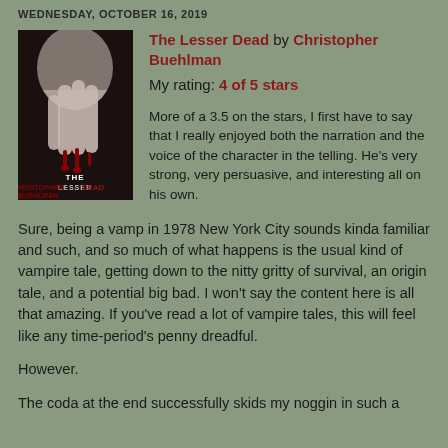WEDNESDAY, OCTOBER 16, 2019
[Figure (illustration): Book cover of 'The Lesser Dead' by Christopher Buehlman — dark cover with a pale hand dripping blood and gothic title text]
The Lesser Dead by Christopher Buehlman
My rating: 4 of 5 stars

More of a 3.5 on the stars, I first have to say that I really enjoyed both the narration and the voice of the character in the telling. He's very strong, very persuasive, and interesting all on his own.
Sure, being a vamp in 1978 New York City sounds kinda familiar and such, and so much of what happens is the usual kind of vampire tale, getting down to the nitty gritty of survival, an origin tale, and a potential big bad. I won't say the content here is all that amazing. If you've read a lot of vampire tales, this will feel like any time-period's penny dreadful.
However.
The coda at the end successfully skids my noggin in such a